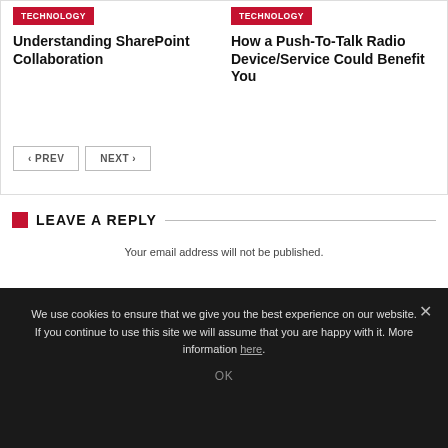TECHNOLOGY
Understanding SharePoint Collaboration
TECHNOLOGY
How a Push-To-Talk Radio Device/Service Could Benefit You
< PREV
NEXT >
LEAVE A REPLY
Your email address will not be published.
We use cookies to ensure that we give you the best experience on our website. If you continue to use this site we will assume that you are happy with it. More information here.
OK